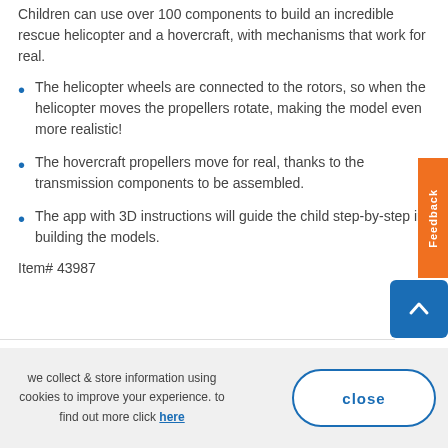Children can use over 100 components to build an incredible rescue helicopter and a hovercraft, with mechanisms that work for real.
The helicopter wheels are connected to the rotors, so when the helicopter moves the propellers rotate, making the model even more realistic!
The hovercraft propellers move for real, thanks to the transmission components to be assembled.
The app with 3D instructions will guide the child step-by-step in building the models.
Item# 43987
we collect & store information using cookies to improve your experience. to find out more click here